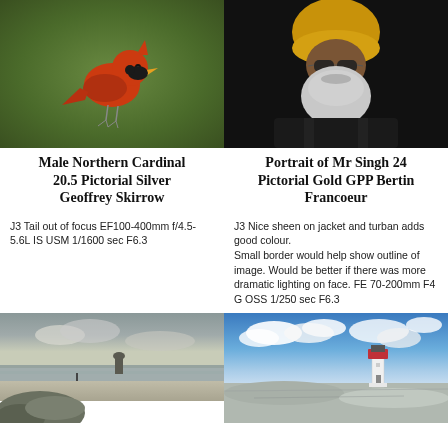[Figure (photo): Photograph of a male Northern Cardinal bird perched, red plumage, on a blurred green background]
[Figure (photo): Portrait photograph of Mr Singh wearing a yellow turban and dark jacket with white beard, dark background]
Male Northern Cardinal 20.5 Pictorial Silver Geoffrey Skirrow
Portrait of Mr Singh 24 Pictorial Gold GPP Bertin Francoeur
J3 Tail out of focus EF100-400mm f/4.5-5.6L IS USM 1/1600 sec F6.3
J3 Nice sheen on jacket and turban adds good colour.
Small border would help show outline of image. Would be better if there was more dramatic lighting on face. FE 70-200mm F4 G OSS 1/250 sec F6.3
[Figure (photo): Coastal landscape photograph with rocky foreground, sandy beach, ocean, and overcast sky]
[Figure (photo): Photograph of a white lighthouse on rocky terrain against a blue sky with clouds]